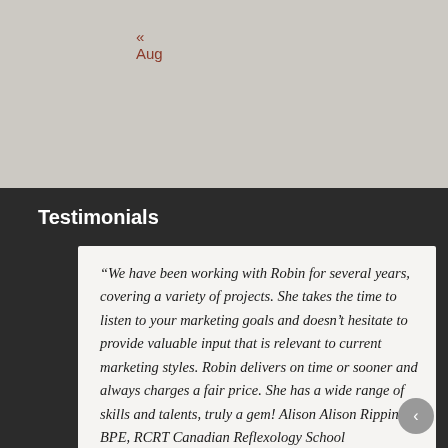« Aug
Testimonials
“We have been working with Robin for several years, covering a variety of projects. She takes the time to listen to your marketing goals and doesn’t hesitate to provide valuable input that is relevant to current marketing styles. Robin delivers on time or sooner and always charges a fair price. She has a wide range of skills and talents, truly a gem! Alison Alison Rippin BPE, RCRT Canadian Reflexology School